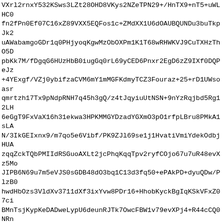VXrl2rnxY532KSws3LZt28OHD8VKys2NZeTPN29+/HnTX9+nT5+uWLHC0fn2fPn0Ef07C16xZ89VXX5EQFos1c+ZMdXX1U6dOAUBQUNDu3buTkpJk2uAWabamgoGDr1q0PHjyoqKgwMzObOXPm1K1T68wRHWKVJ9CuTXHzThO5DpbKk7M/fDgqG6HUzHbB0iugGq0rL69yCED6Pnxr2EgD6zZ9IXf0DQPeJz+4YExgf/VZj0ybifzaCVM6mY1mMGFKdmyTCZ3Fouraz+25+rD1UWsoasrqmrtzh17Tx9pNdpRNH7q45h3gQ/z4tJqyiuUtNSN+9nYzRqjbd5Rg12LH6eGgT9FxVaX16h31ekwa3HPKMMGYDzadYGXmO3pO1rfpLBru8PMkA1sLAN/3IkGEIxnx9/m7qo5e6Vibf/PK9ZJl69se1j1HvatiVmiYdekOdbjHUAzqqZckTQbPMIIdRSGuoAXLt2jcPhqKqqTpv2ryfCOjo67u7uR48evXz5MoJIPB6N69u7m5eVJS0sGDB48dO3bq1C13d3fq50+ePAkPD+dyuQDw/PlzB0hwdHbOzs3VldXv3711dXf3ixYvw8PDr16+HhobKyckBgIqKSkVFxZ07ciBMnTsjKypKeDADweLypU6deunRJTk7OwcFBW1v79evXPj4+R44cCQ0NRnvV1ADIzMy9duqSurk6u/unkiCrPSZMmXb16VUVFxc7OTk1NLT093c/P7ndQ2adZRTU3NpEmTQkJCFBUVnZyc1JSUXr9+/fvvx85ciQkJGTQoEFUzvHkAYGNjw2azIyMjIyMjs7KyNmzYQKJ9+vTpxo0bJA0AUFJSQj5SBHsgV19eZo+zsbAcHh48fP6qrq/fv37+wsHDixImbN2++c+fOX3/9JdgDCQ0Nhwc Voq6uHhUVlZub+7///e/8+fMrV66kvvr06VNRURH1kX5bys3NdXBws2ezZs1+8eCErK+EyXGKVJ/3apJ93sXy++vn3MGhFkcHQ3GpO8sPnnz/w-4yvqw2CAjCyTV8sVHSlEQgR7BfEhfwFAnxnCc82//vm7hvfSgIyodyXp0NWHnFmU8jc14GluakdtV/sR/ovL5d1YefHflATAYu11NNEw61KTnvDpz51nTQL3mSI9vnQ/5cfQgAdLoYcyqrs14mZL1MKM8tcvT85xzy8cmbgg8ZvNHPqHXUgMOl+tJqhjsOiSVS0nLfJoRuOMeVlnbwkGY/Ezis+++1KVlaBv/WbZ1NSw15+exfec+s+VvdRzRNBs8wgh1GJY9eDz+eRqafDgwXwRp0+fBDgCdO3e0jY01IRwOZ/PmzQCgqKiYkpIitIW+ffsCQFBQk0jGKT/88AMAGXVOAOHHiBBUtKCgIAFRUVMrKyoS2QG6Curm5USG+vr4AQK59SQiPx1uxYUcePHweAyZMn1xfh7t27AODo6ChWjvh8Prmes7e3J3VB3LlzhBFgGBsbcAOjatevHjx9JCI/HI4EGBgaCSerWrRsJ9PLyIqVHxVRWVmaz2UJpIJXVf8v5OzZw7ZWlFREQmJjIzU0dHR0dEBgNu3b1Mxu3fvLhQiGB4SEiIYSPpx2ZWV1LBYrOTm5tLSUikaXZWl1FREQKSkpKSkJJSRRKSkpOTk5ZWVlampqSkrKTk5OQUFB5WVlJCSkpKampqSkpJSRRKSkpOTk5ZWVlampqSkrKTk5OQUFB5WVlJCSkpKampqSkpJSRRKSkZWVlJCSkpKampqSkpJSRpOTk5ZWVl...